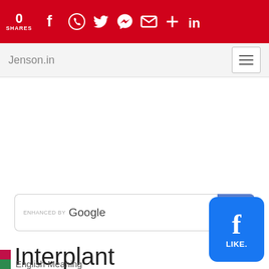0 SHARES
Jenson.in
[Figure (screenshot): Google enhanced search bar with blue search button]
Interplant
[Figure (logo): Facebook like button - blue rounded rectangle with f logo and LIKE. text]
English Meaning